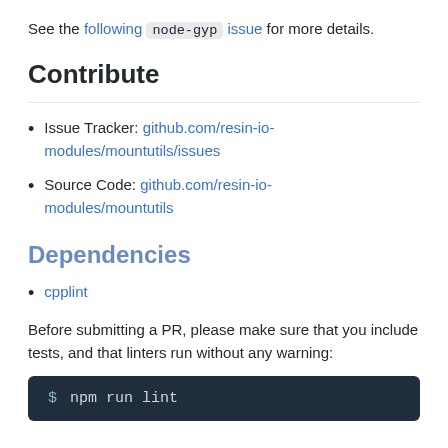See the following node-gyp issue for more details.
Contribute
Issue Tracker: github.com/resin-io-modules/mountutils/issues
Source Code: github.com/resin-io-modules/mountutils
Dependencies
cpplint
Before submitting a PR, please make sure that you include tests, and that linters run without any warning:
$ npm run lint